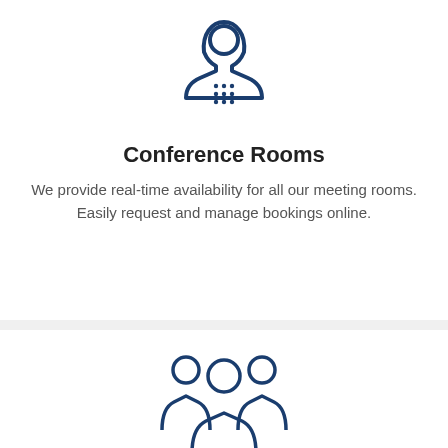[Figure (illustration): Conference room / phone icon in dark navy blue outline style]
Conference Rooms
We provide real-time availability for all our meeting rooms. Easily request and manage bookings online.
[Figure (illustration): Group of three people / community icon in dark navy blue outline style]
A Community of Like Minded Leaders